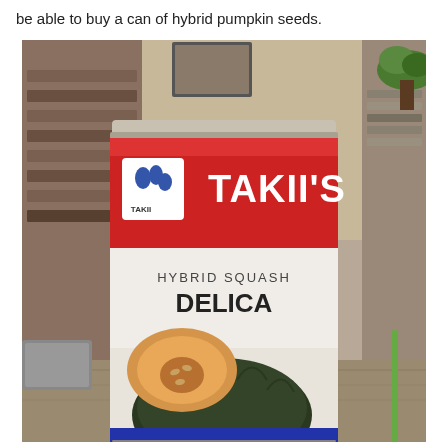be able to buy a can of hybrid pumpkin seeds.
[Figure (photo): Photograph of a can of Takii's Hybrid Squash Delica seeds. The can has a red top band with the Takii logo and 'TAKII'S' in large white letters. Below is a white band with 'HYBRID SQUASH' and 'DELICA' in bold dark text. The bottom portion shows an image of a dark green kabocha squash whole and cut open, revealing orange flesh and seeds. The background shows a blurred room interior.]